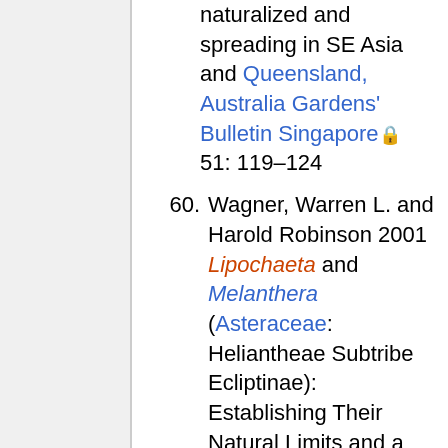naturalized and spreading in SE Asia and Queensland, Australia Gardens' Bulletin Singapore 51: 119–124
60. Wagner, Warren L. and Harold Robinson 2001 Lipochaeta and Melanthera (Asteraceae: Heliantheae Subtribe Ecliptinae): Establishing Their Natural Limits and a Synopsis Brittonia 53(4): 539-561